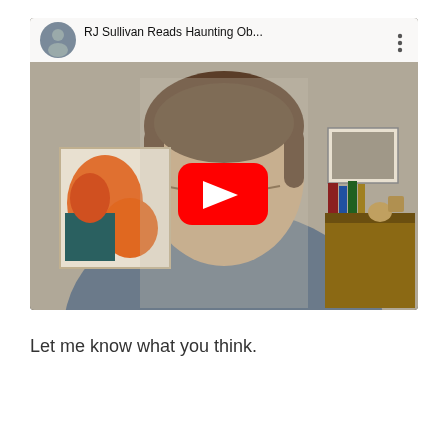[Figure (screenshot): YouTube video thumbnail/player showing a man with glasses wearing a gray shirt, sitting in a room with artwork on the walls. The YouTube interface shows a top bar with a circular avatar, the title 'RJ Sullivan Reads Haunting Ob...' and a three-dot menu icon. A red YouTube play button is overlaid in the center of the video.]
Let me know what you think.